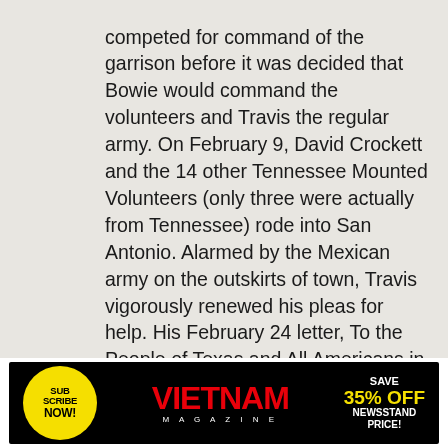competed for command of the garrison before it was decided that Bowie would command the volunteers and Travis the regular army. On February 9, David Crockett and the 14 other Tennessee Mounted Volunteers (only three were actually from Tennessee) rode into San Antonio. Alarmed by the Mexican army on the outskirts of town, Travis vigorously renewed his pleas for help. His February 24 letter, To the People of Texas and All Americans in the World....I shall never surrender or retreat....Victory or Death! is considered one of the most heart-wrenching pleas ever written. Travis sent the message out with Captain Albert Martin.
[Figure (infographic): Advertisement banner for Vietnam Magazine: Subscribe Now! Save 35% Off Newsstand Price!]